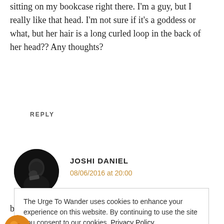sitting on my bookcase right there. I'm a guy, but I really like that head. I'm not sure if it's a goddess or what, but her hair is a long curled loop in the back of her head?? Any thoughts?
REPLY
[Figure (photo): Circular avatar photo of Joshi Daniel, dark/black and white portrait of a person holding a camera]
JOSHI DANIEL
08/06/2016 at 20:00
beautiful 🌝
The Urge To Wander uses cookies to enhance your experience on this website. By continuing to use the site you consent to our cookies. Privacy Policy
OK
[Figure (photo): Partial circular avatar at bottom left, orange/red tones]